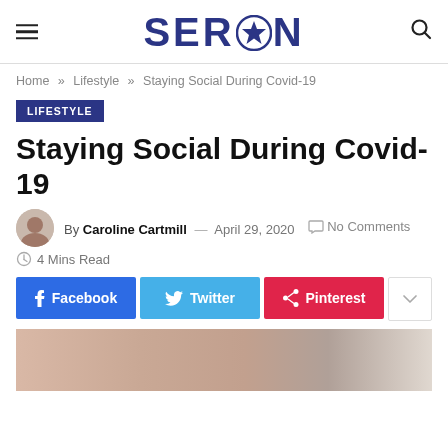SEREN
Home » Lifestyle » Staying Social During Covid-19
LIFESTYLE
Staying Social During Covid-19
By Caroline Cartmill — April 29, 2020  No Comments  4 Mins Read
[Figure (other): Social media share buttons: Facebook, Twitter, Pinterest, and a share icon button]
[Figure (photo): Partial photo of a person at the bottom of the page]